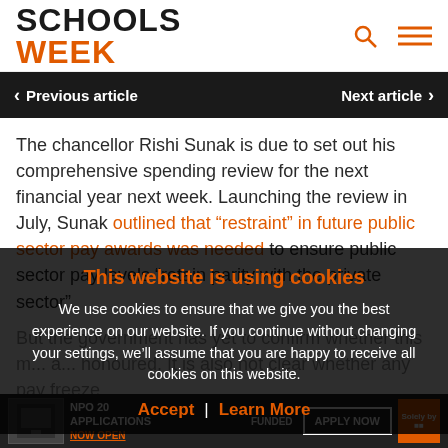SCHOOLS WEEK
Previous article | Next article
The chancellor Rishi Sunak is due to set out his comprehensive spending review for the next financial year next week. Launching the review in July, Sunak outlined that “restraint” in future public sector pay awards was needed to ensure public sector pay levels “retain parity with the private sector”.
But the government has yet to confirm whether this m... a... honoured. It is also not clear whether any pay freeze
This website is using cookies
We use cookies to ensure that we give you the best experience on our website. If you continue without changing your settings, we’ll assume that you are happy to receive all cookies on this website.
Accept | Learn More